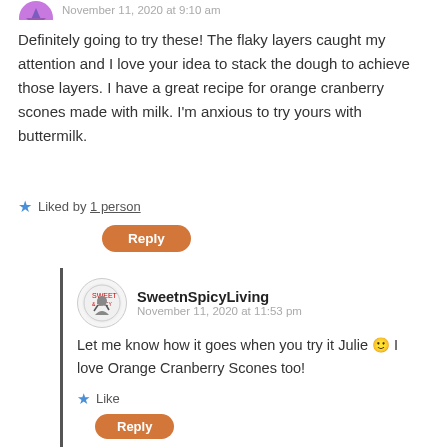November 11, 2020 at 9:10 am
Definitely going to try these! The flaky layers caught my attention and I love your idea to stack the dough to achieve those layers. I have a great recipe for orange cranberry scones made with milk. I'm anxious to try yours with buttermilk.
Liked by 1 person
Reply
SweetnSpicyLiving
November 11, 2020 at 11:53 pm
Let me know how it goes when you try it Julie 🙂 I love Orange Cranberry Scones too!
Like
Reply